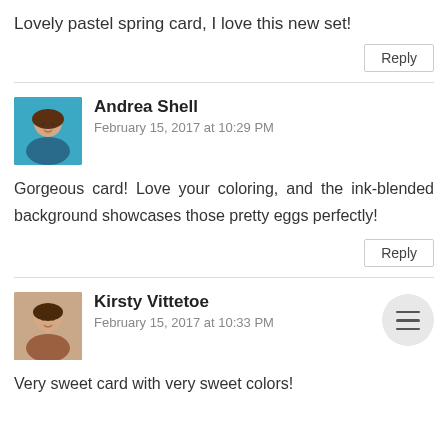Lovely pastel spring card, I love this new set!
Reply
Andrea Shell
February 15, 2017 at 10:29 PM
Gorgeous card! Love your coloring, and the ink-blended background showcases those pretty eggs perfectly!
Reply
Kirsty Vittetoe
February 15, 2017 at 10:33 PM
Very sweet card with very sweet colors!